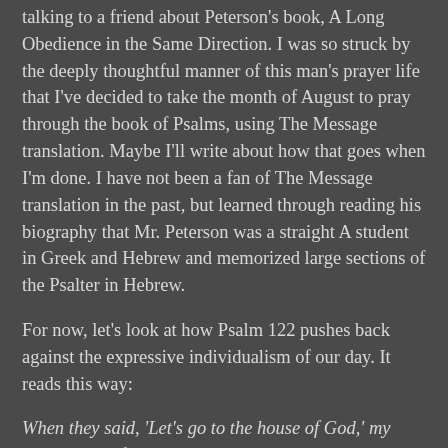talking to a friend about Peterson's book, A Long Obedience in the Same Direction. I was so struck by the deeply thoughtful manner of this man's prayer life that I've decided to take the month of August to pray through the book of Psalms, using The Message translation. Maybe I'll write about how that goes when I'm done. I have not been a fan of The Message translation in the past, but learned through reading his biography that Mr. Peterson was a straight A student in Greek and Hebrew and memorized large sections of the Psalter in Hebrew.
For now, let's look at how Psalm 122 pushes back against the expressive individualism of our day. It reads this way:
When they said, 'Let's go to the house of God,' my heart leaped for joy. And now we're here, oh Jerusalem, inside Jerusalem's walls!